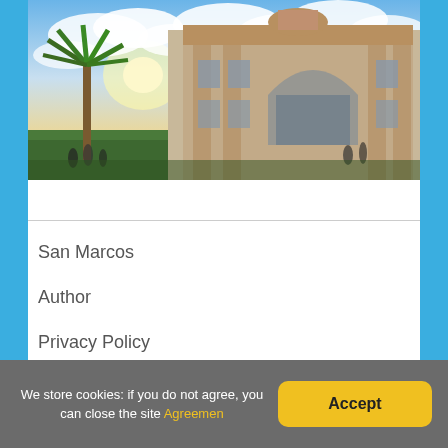[Figure (photo): Photograph of a historic stone building with a large arched window and ornate facade, a palm tree on the left side, dramatic cloudy sky with sunlight breaking through, people visible in the foreground.]
San Marcos
Author
Privacy Policy
Cookie agreement
We store cookies: if you do not agree, you can close the site Agreemen